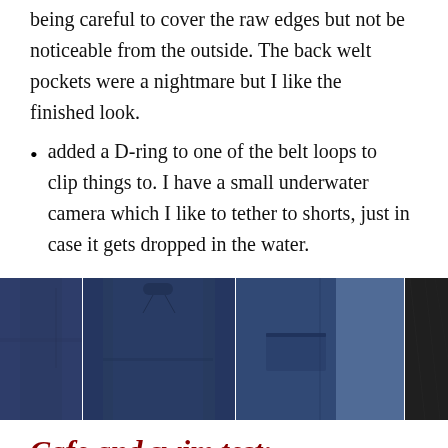being careful to cover the raw edges but not be noticeable from the outside.  The back welt pockets were a nightmare but I like the finished look.
added a D-ring to one of the belt loops to clip things to.  I have a small underwater camera which I like to tether to shorts, just in case it gets dropped in the water.
[Figure (photo): Four photos of navy blue and black shorts showing front panels, back pockets, and fabric detail.]
Cafe and swim test:
Passed on both accounts.  The final shorts fit well and don't look that much different from normal shorts.  The work